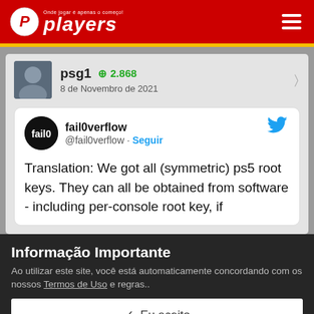players — Onde jogar é apenas o começo!
psg1 +2.868
8 de Novembro de 2021
fail0verflow @fail0verflow · Seguir
Translation: We got all (symmetric) ps5 root keys. They can all be obtained from software - including per-console root key, if
Informação Importante
Ao utilizar este site, você está automaticamente concordando com os nossos Termos de Uso e regras..
✓ Eu aceito